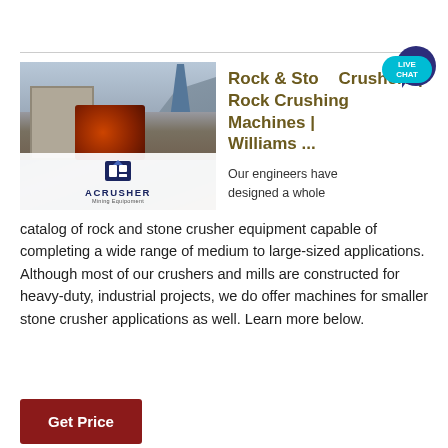[Figure (photo): Photograph of a rock/stone crusher machine at a quarry site with mountains in background, overlaid with ACRUSHER Mining Equipment logo]
Rock & Stone Crushers | Rock Crushing Machines | Williams ...
Our engineers have designed a whole catalog of rock and stone crusher equipment capable of completing a wide range of medium to large-sized applications. Although most of our crushers and mills are constructed for heavy-duty, industrial projects, we do offer machines for smaller stone crusher applications as well. Learn more below.
Get Price